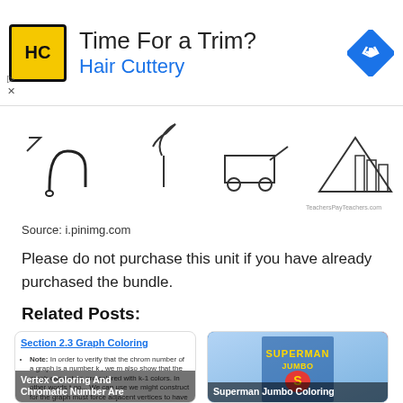[Figure (infographic): Hair Cuttery advertisement banner with logo, 'Time For a Trim?' heading, and navigation icon]
[Figure (illustration): Row of coloring page outline drawings of various objects including animals and tools, with TeachersPayTeachers.com watermark]
Source: i.pinimg.com
Please do not purchase this unit if you have already purchased the bundle.
Related Posts:
[Figure (screenshot): Thumbnail showing Section 2.3 Graph Coloring page with note about chromatic number and vertex coloring]
Vertex Coloring And Chromatic Number Are
[Figure (photo): Superman Jumbo coloring book cover showing Superman in blue and red costume]
Superman Jumbo Coloring